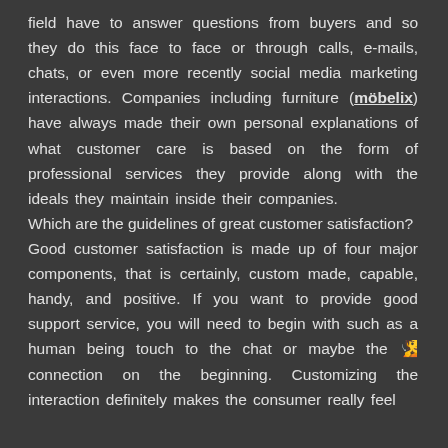field have to answer questions from buyers and so they do this face to face or through calls, e-mails, chats, or even more recently social media marketing interactions. Companies including furniture (möbelix) have always made their own personal explanations of what customer care is based on the form of professional services they provide along with the ideals they maintain inside their companies.
Which are the guidelines of great customer satisfaction?
Good customer satisfaction is made up of four major components, that is certainly, custom made, capable, handy, and positive. If you want to provide good support service, you will need to begin with such as a human being touch to the chat or maybe the connection on the beginning. Customizing the interaction definitely makes the consumer really feel